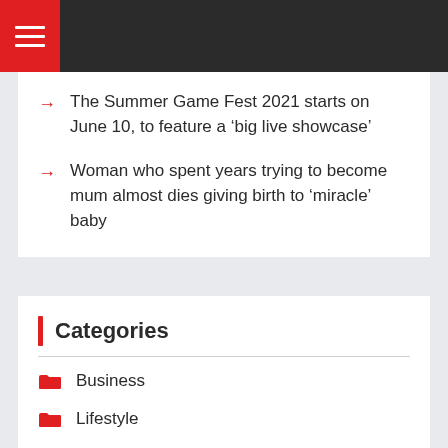Navigation menu header bar
The Summer Game Fest 2021 starts on June 10, to feature a ‘big live showcase’
Woman who spent years trying to become mum almost dies giving birth to ‘miracle’ baby
Categories
Business
Lifestyle
News
Sport